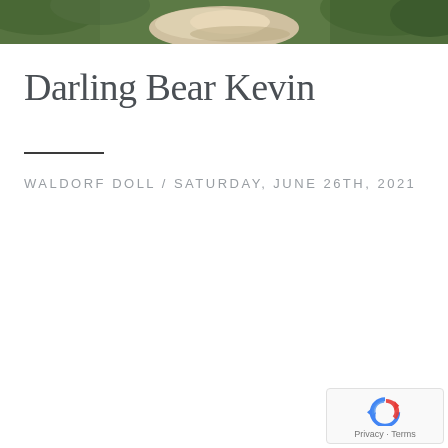[Figure (photo): Partial top crop of a nature/outdoor photo showing green foliage and a light-colored rock against a green background]
Darling Bear Kevin
WALDORF DOLL / SATURDAY, JUNE 26TH, 2021
[Figure (logo): reCAPTCHA badge with circular arrow logo and 'Privacy - Terms' text]